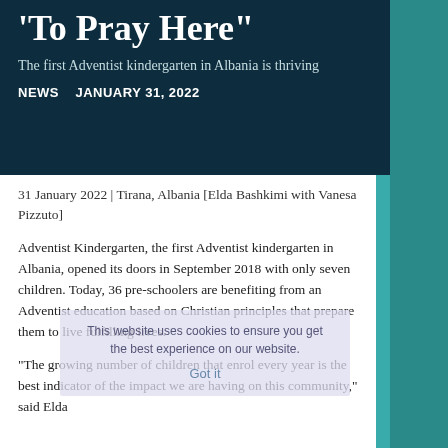'To Pray Here'
The first Adventist kindergarten in Albania is thriving
NEWS   JANUARY 31, 2022
31 January 2022 | Tirana, Albania [Elda Bashkimi with Vanesa Pizzuto]
Adventist Kindergarten, the first Adventist kindergarten in Albania, opened its doors in September 2018 with only seven children. Today, 36 pre-schoolers are benefiting from an Adventist education based on Christian principles that prepare them to live fulfilling lives.
“The growing number of children that enrol every year is the best indicator of the impact we are having on this community,” said Elda